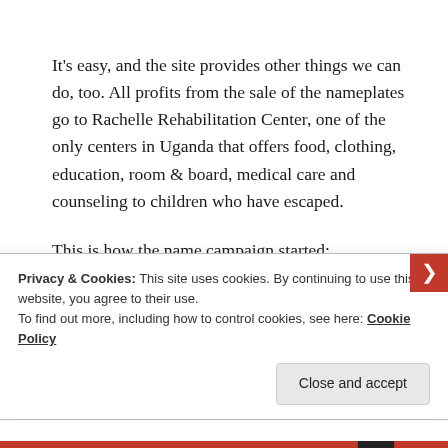It's easy, and the site provides other things we can do, too. All profits from the sale of the nameplates go to Rachelle Rehabilitation Center, one of the only centers in Uganda that offers food, clothing, education, room & board, medical care and counseling to children who have escaped.
This is how the name campaign started:
Privacy & Cookies: This site uses cookies. By continuing to use this website, you agree to their use.
To find out more, including how to control cookies, see here: Cookie Policy